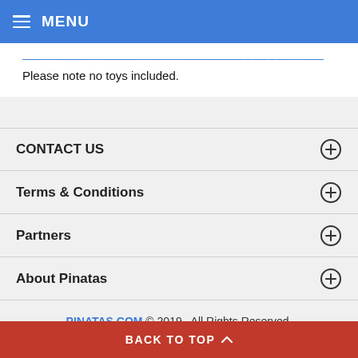MENU
Please note no toys included.
CONTACT US
Terms & Conditions
Partners
About Pinatas
PINATAS.COM © 2019 . All Rights Reserved.
BACK TO TOP